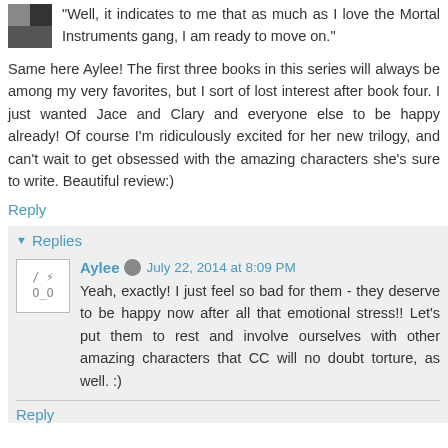"Well, it indicates to me that as much as I love the Mortal Instruments gang, I am ready to move on."
Same here Aylee! The first three books in this series will always be among my very favorites, but I sort of lost interest after book four. I just wanted Jace and Clary and everyone else to be happy already! Of course I'm ridiculously excited for her new trilogy, and can't wait to get obsessed with the amazing characters she's sure to write. Beautiful review:)
Reply
Replies
Aylee  July 22, 2014 at 8:09 PM
Yeah, exactly! I just feel so bad for them - they deserve to be happy now after all that emotional stress!! Let's put them to rest and involve ourselves with other amazing characters that CC will no doubt torture, as well. :)
Reply